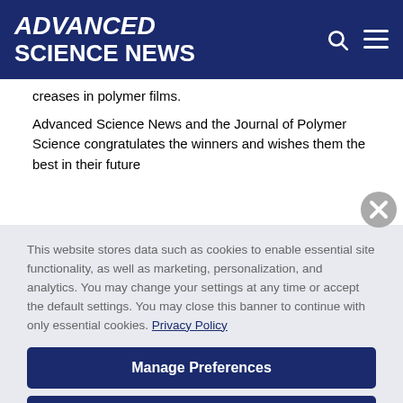ADVANCED SCIENCE NEWS
g p y
creases in polymer films.
Advanced Science News and the Journal of Polymer Science congratulates the winners and wishes them the best in their future
This website stores data such as cookies to enable essential site functionality, as well as marketing, personalization, and analytics. You may change your settings at any time or accept the default settings. You may close this banner to continue with only essential cookies. Privacy Policy
Manage Preferences
Accept All
Reject All